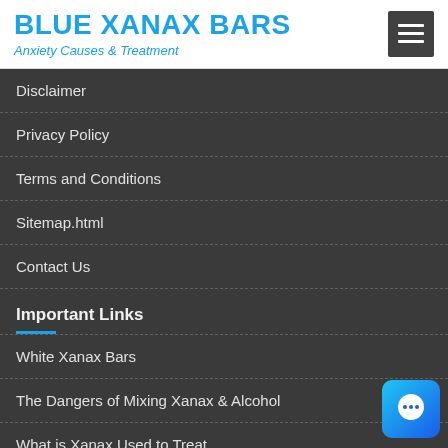BLUE XANAX BARS — Anxiety Causes & Treatment
Disclaimer
Privacy Policy
Terms and Conditions
Sitemap.html
Contact Us
Important Links
White Xanax Bars
The Dangers of Mixing Xanax & Alcohol
What is Xanax Used to Treat
Long Term Side Effects of Xanax